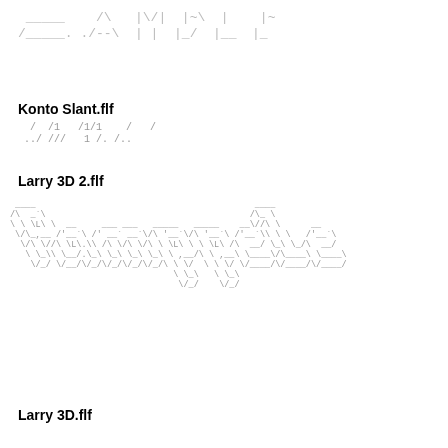[Figure (other): ASCII art rendering of the word SAMPLE in large decorative characters]
Konto Slant.flf
[Figure (other): ASCII art rendering of SAMPLE in Konto Slant font style]
Larry 3D 2.flf
[Figure (other): ASCII art rendering of SAMPLE in Larry 3D 2 font style]
Larry 3D.flf